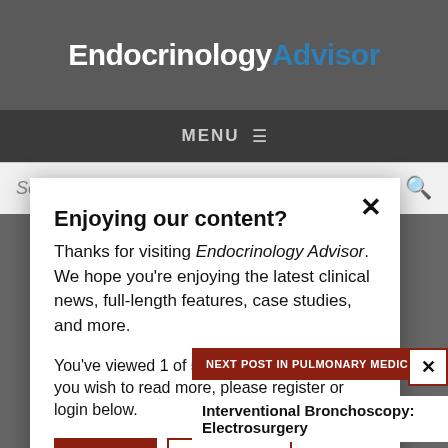EndocrinologyAdvisor
MENU ≡
Search...
Enjoying our content?
Thanks for visiting Endocrinology Advisor. We hope you're enjoying the latest clinical news, full-length features, case studies, and more.
You've viewed 1 of 5 articles this month. If you wish to read more, please register or login below.
LOGIN
REGISTER
NEXT POST IN PULMONARY MEDICINE
Interventional Bronchoscopy: Electrosurgery